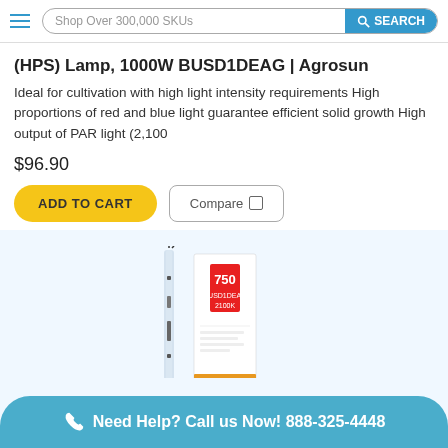Shop Over 300,000 SKUs  SEARCH
(HPS) Lamp, 1000W BUSD1DEAG | Agrosun
Ideal for cultivation with high light intensity requirements High proportions of red and blue light guarantee efficient solid growth High output of PAR light (2,100
$96.90
ADD TO CART   Compare
[Figure (photo): HPS lamp product photo with packaging showing 750 and 2100K labels]
Need Help? Call us Now! 888-325-4448